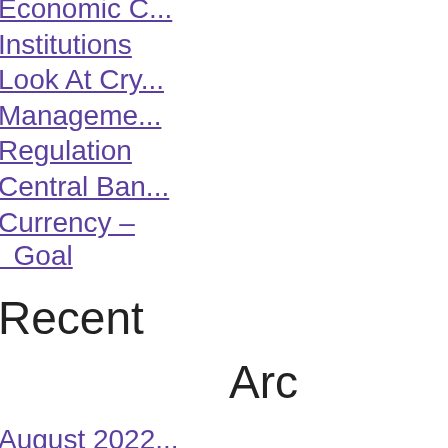Economic Outlook on Institutions Look At Crypto Management Regulation Central Bank Currency – Goal
Recent
Arc
August 2022
July 2022
June 2022
May 2022
April 2022
March 2022
February 20
January 20